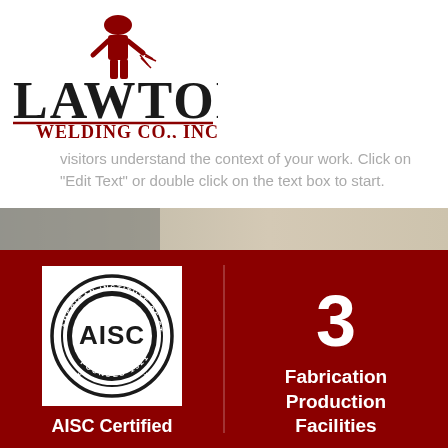[Figure (logo): Lawton Welding Co., Inc. logo with welder silhouette and company name in dark red/black serif lettering]
visitors understand the context of your work. Click on "Edit Text" or double click on the text box to start.
[Figure (photo): Horizontal image strip showing concrete/stone texture in gray and beige tones]
[Figure (logo): AISC - American Institute of Steel Construction circular seal logo, black and white, Founded 1921]
AISC Certified
3
Fabrication Production Facilities